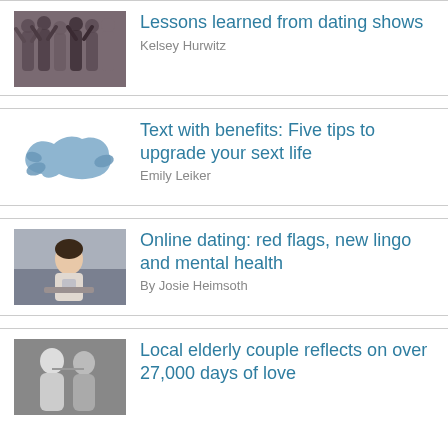[Figure (photo): Group of women at a party or wedding, dancing]
Lessons learned from dating shows
Kelsey Hurwitz
[Figure (illustration): Blue blob/manatee-like shape illustration]
Text with benefits: Five tips to upgrade your sext life
Emily Leiker
[Figure (photo): Woman sitting and looking at a phone or laptop]
Online dating: red flags, new lingo and mental health
By Josie Heimsoth
[Figure (photo): Elderly couple in black and white photo]
Local elderly couple reflects on over 27,000 days of love